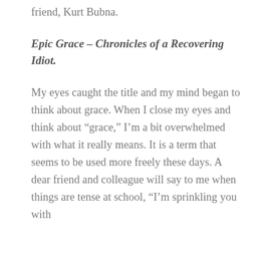friend, Kurt Bubna.
Epic Grace – Chronicles of a Recovering Idiot.
My eyes caught the title and my mind began to think about grace. When I close my eyes and think about “grace,” I’m a bit overwhelmed with what it really means. It is a term that seems to be used more freely these days. A dear friend and colleague will say to me when things are tense at school, “I’m sprinkling you with